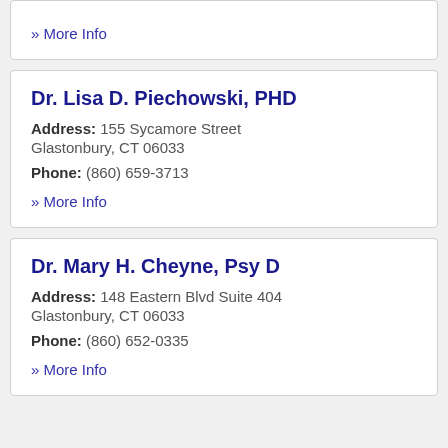» More Info
Dr. Lisa D. Piechowski, PHD
Address: 155 Sycamore Street Glastonbury, CT 06033
Phone: (860) 659-3713
» More Info
Dr. Mary H. Cheyne, Psy D
Address: 148 Eastern Blvd Suite 404 Glastonbury, CT 06033
Phone: (860) 652-0335
» More Info